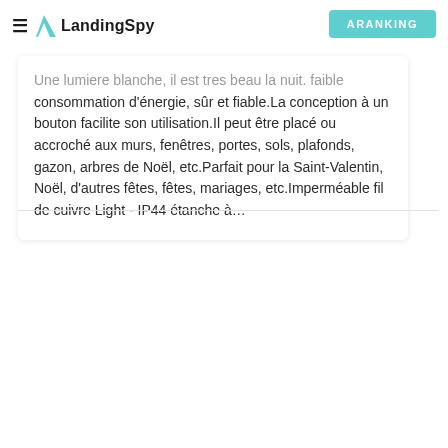LandingSpy  ARANKING
Une lumiere blanche, il est tres beau la nuit. faible consommation d'énergie, sûr et fiable.La conception à un bouton facilite son utilisation.Il peut être placé ou accroché aux murs, fenêtres, portes, sols, plafonds, gazon, arbres de Noël, etc.Parfait pour la Saint-Valentin, Noël, d'autres fêtes, fêtes, mariages, etc.Imperméable fil de cuivre Light - IP44 étanche à…